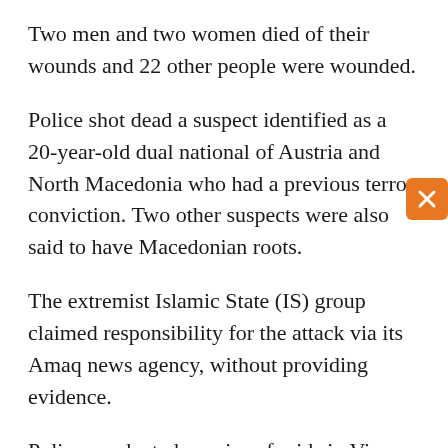Two men and two women died of their wounds and 22 other people were wounded.
Police shot dead a suspect identified as a 20-year-old dual national of Austria and North Macedonia who had a previous terror conviction. Two other suspects were also said to have Macedonian roots.
The extremist Islamic State (IS) group claimed responsibility for the attack via its Amaq news agency, without providing evidence.
Police conducted a series of raids in Vienna and Lower Austria, Interior Minister Karl Nehammer said on November 3, adding that they have found no evidence that a second shooter was